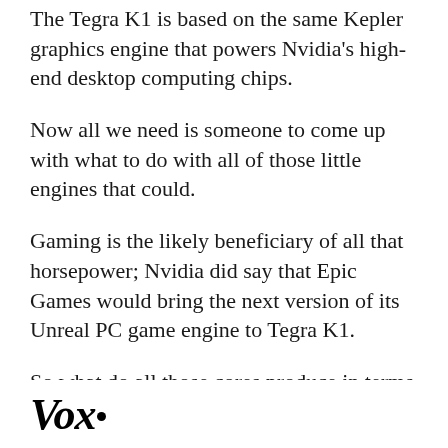The Tegra K1 is based on the same Kepler graphics engine that powers Nvidia’s high-end desktop computing chips.
Now all we need is someone to come up with what to do with all of those little engines that could.
Gaming is the likely beneficiary of all that horsepower; Nvidia did say that Epic Games would bring the next version of its Unreal PC game engine to Tegra K1.
So what do all those cores produce in terms of performance? Huang said that the K1 has more graphics horsepower than either the PlayStation 3
Vox